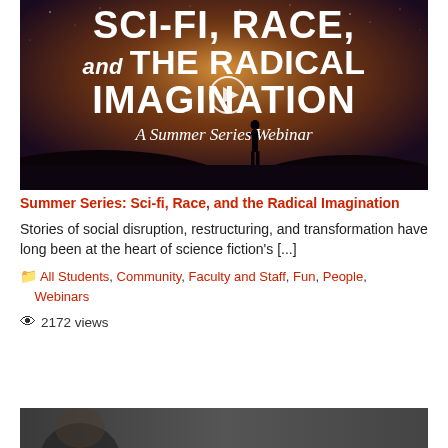[Figure (photo): Promotional banner image for 'Sci-fi, Race, and the Radical Imagination: A Summer Series Webinar'. Dark cosmic background with a silhouette of a person standing on a hill. Large white text reads: SCI-FI, RACE, AND THE RADICAL IMAGINATION. Below in italic: A Summer Series Webinar. A play button icon overlaid on the image.]
Summer Series: Sci-fi, Race, and the Radical Imagination
Stories of social disruption, restructuring, and transformation have long been at the heart of science fiction's [...]
All Students, Community, Faculty and Staff, Fun, People, Webinars
2172 views
[Figure (photo): Partial view of another webinar or event thumbnail at the bottom of the page.]